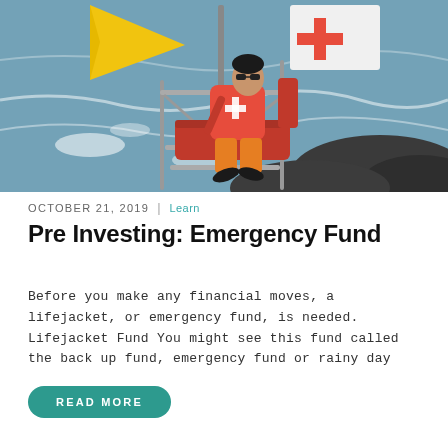[Figure (photo): A Red Cross lifeguard sitting in an elevated beach chair with a yellow flag and Red Cross sign, overlooking rocky shoreline and ocean waves.]
OCTOBER 21, 2019 | Learn
Pre Investing: Emergency Fund
Before you make any financial moves, a lifejacket, or emergency fund, is needed. Lifejacket Fund You might see this fund called the back up fund, emergency fund or rainy day
READ MORE